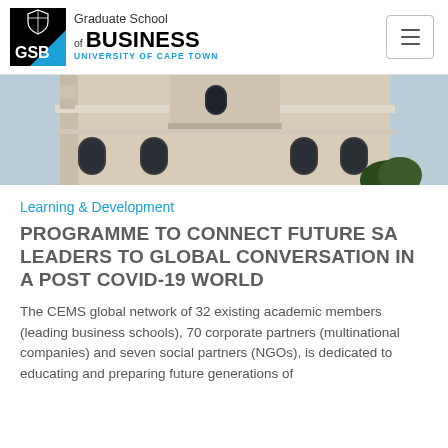[Figure (logo): Graduate School of Business UCT logo with black square box containing GSB text and shield, alongside text 'Graduate School of BUSINESS UNIVERSITY OF CAPE TOWN']
[Figure (photo): Photo of a white colonial-style building with arched windows and a tower, taken from a low angle against a blue sky]
Learning & Development
PROGRAMME TO CONNECT FUTURE SA LEADERS TO GLOBAL CONVERSATION IN A POST COVID-19 WORLD
The CEMS global network of 32 existing academic members (leading business schools), 70 corporate partners (multinational companies) and seven social partners (NGOs), is dedicated to educating and preparing future generations of